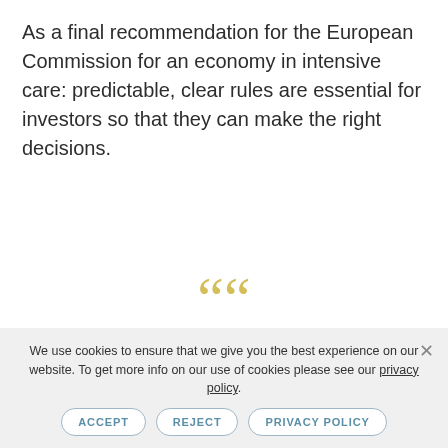As a final recommendation for the European Commission for an economy in intensive care: predictable, clear rules are essential for investors so that they can make the right decisions.
[Figure (illustration): Large decorative golden/yellow opening quotation marks]
Multilateralism is an essential word
We use cookies to ensure that we give you the best experience on our website. To get more info on our use of cookies please see our privacy policy.